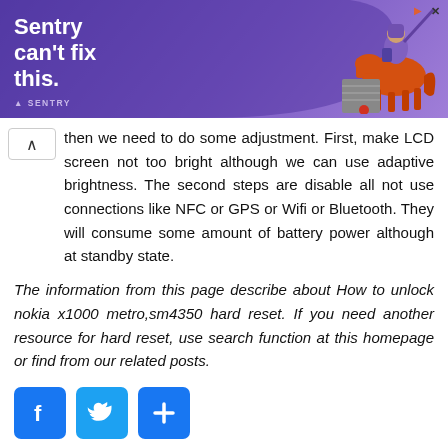[Figure (illustration): Advertisement banner with purple background, bold white text 'Sentry can't fix this.' and an illustration of a knight/horse character on the right side. Sentry brand logo at bottom left.]
then we need to do some adjustment. First, make LCD screen not too bright although we can use adaptive brightness. The second steps are disable all not use connections like NFC or GPS or Wifi or Bluetooth. They will consume some amount of battery power although at standby state.
The information from this page describe about How to unlock nokia x1000 metro,sm4350 hard reset. If you need another resource for hard reset, use search function at this homepage or find from our related posts.
[Figure (infographic): Social share buttons: Facebook (f), Twitter (bird icon), and a Plus (+) button, all in blue square rounded buttons.]
[Figure (illustration): Bottom advertisement area with text 'Build a Data Culture' and an orange/yellow grid/chart logo icon on the right.]